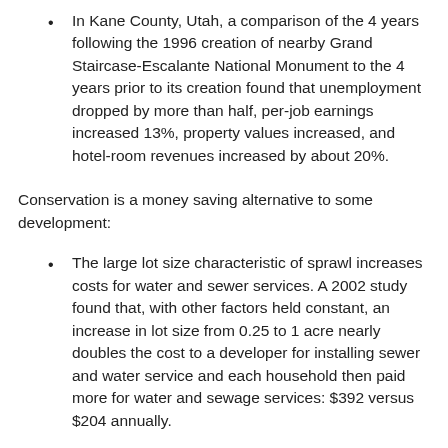In Kane County, Utah, a comparison of the 4 years following the 1996 creation of nearby Grand Staircase-Escalante National Monument to the 4 years prior to its creation found that unemployment dropped by more than half, per-job earnings increased 13%, property values increased, and hotel-room revenues increased by about 20%.
Conservation is a money saving alternative to some development:
The large lot size characteristic of sprawl increases costs for water and sewer services. A 2002 study found that, with other factors held constant, an increase in lot size from 0.25 to 1 acre nearly doubles the cost to a developer for installing sewer and water service and each household then paid more for water and sewage services: $392 versus $204 annually.
By using an environmentally friendly design in a